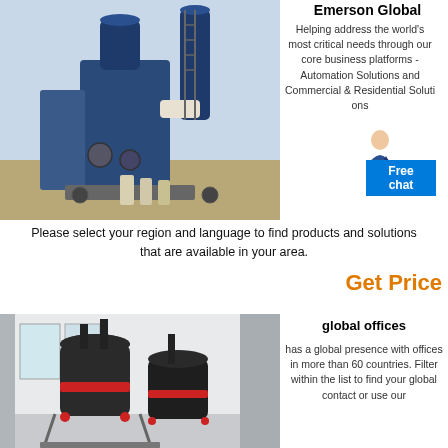[Figure (photo): Industrial grinding mill machinery (blue metal equipment) outdoors at an industrial site]
Emerson Global
Helping address the world's most critical needs through our core business platforms - Automation Solutions and Commercial & Residential Solutions
Please select your region and language to find products and solutions that are available in your area.
Get Price
[Figure (photo): Two large black industrial grinding mills with red accents inside a factory building]
global offices
has a global presence with offices in more than 60 countries. Filter within the list to find your global contact or use our